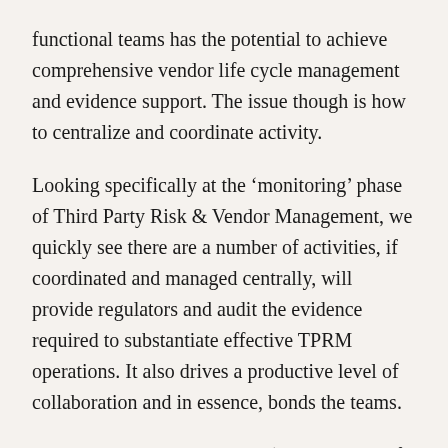functional teams has the potential to achieve comprehensive vendor life cycle management and evidence support. The issue though is how to centralize and coordinate activity.
Looking specifically at the ‘monitoring’ phase of Third Party Risk & Vendor Management, we quickly see there are a number of activities, if coordinated and managed centrally, will provide regulators and audit the evidence required to substantiate effective TPRM operations. It also drives a productive level of collaboration and in essence, bonds the teams.
Third Part Risk Management ‘Monitoring’ Life Cycle Phase includes, but is not limited to, the following